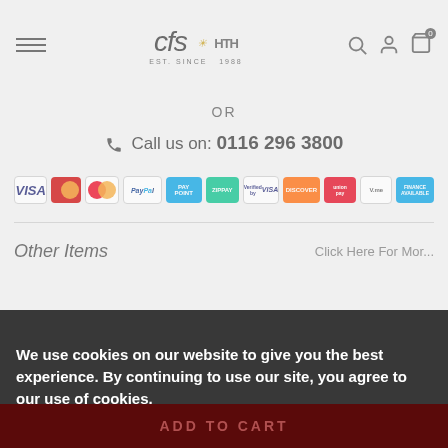CFS - Est. Since 1988 - Navigation header with hamburger menu and icons
OR
Call us on: 0116 296 3800
[Figure (other): Row of payment method logos including VISA, Maestro, Mastercard, PayPal, PayPoint, ZipPay, Verified by VISA, Discover, UnionPay, and other payment icons]
Other Items
Click Here For Mor...
We use cookies on our website to give you the best experience. By continuing to use our site, you agree to our use of cookies. Read More about our cookie policy here.